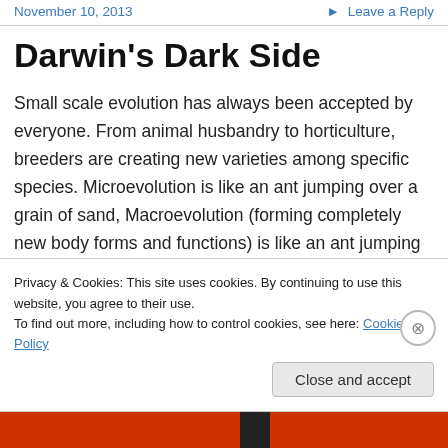November 10, 2013    Leave a Reply
Darwin's Dark Side
Small scale evolution has always been accepted by everyone.  From animal husbandry to horticulture, breeders are creating new varieties among specific species.  Microevolution is like an ant jumping over a grain of sand, Macroevolution (forming completely new body forms and functions) is like an ant jumping over the Grand Canyon at its widest point.  As paleontologist Robert
Privacy & Cookies: This site uses cookies. By continuing to use this website, you agree to their use.
To find out more, including how to control cookies, see here: Cookie Policy